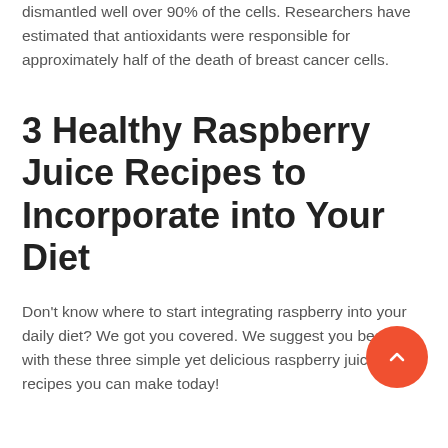dismantled well over 90% of the cells. Researchers have estimated that antioxidants were responsible for approximately half of the death of breast cancer cells.
3 Healthy Raspberry Juice Recipes to Incorporate into Your Diet
Don't know where to start integrating raspberry into your daily diet? We got you covered. We suggest you begin with these three simple yet delicious raspberry juice recipes you can make today!